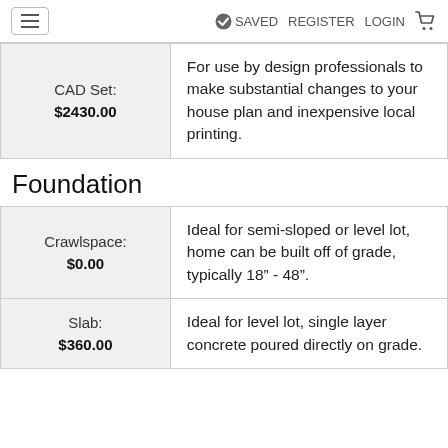≡   ✓ SAVED  REGISTER  LOGIN  🛒
| CAD Set:
$2430.00 | For use by design professionals to make substantial changes to your house plan and inexpensive local printing. |
Foundation
| Crawlspace:
$0.00 | Ideal for semi-sloped or level lot, home can be built off of grade, typically 18" - 48". |
| Slab:
$360.00 | Ideal for level lot, single layer concrete poured directly on grade. |